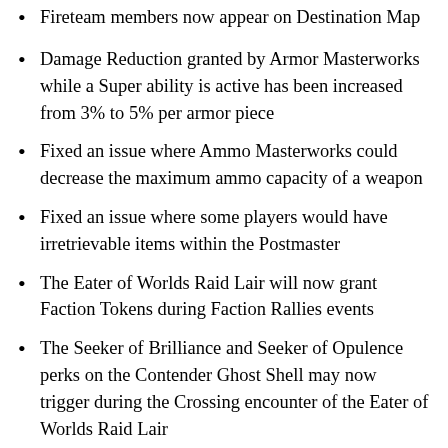Fireteam members now appear on Destination Map
Damage Reduction granted by Armor Masterworks while a Super ability is active has been increased from 3% to 5% per armor piece
Fixed an issue where Ammo Masterworks could decrease the maximum ammo capacity of a weapon
Fixed an issue where some players would have irretrievable items within the Postmaster
The Eater of Worlds Raid Lair will now grant Faction Tokens during Faction Rallies events
The Seeker of Brilliance and Seeker of Opulence perks on the Contender Ghost Shell may now trigger during the Crossing encounter of the Eater of Worlds Raid Lair